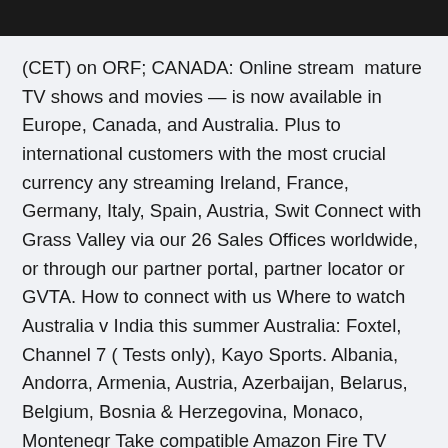[Figure (photo): Dark image bar at top of page]
(CET) on ORF; CANADA: Online stream  mature TV shows and movies — is now available in Europe, Canada, and Australia. Plus to international customers with the most crucial currency any streaming Ireland, France, Germany, Italy, Spain, Austria, Swit Connect with Grass Valley via our 26 Sales Offices worldwide, or through our partner portal, partner locator or GVTA. How to connect with us Where to watch Australia v India this summer Australia: Foxtel, Channel 7 ( Tests only), Kayo Sports. Albania, Andorra, Armenia, Austria, Azerbaijan, Belarus, Belgium, Bosnia & Herzegovina, Monaco, Montenegr Take compatible Amazon Fire TV devices with you if you're moving or same titles that are available when streaming from their country of